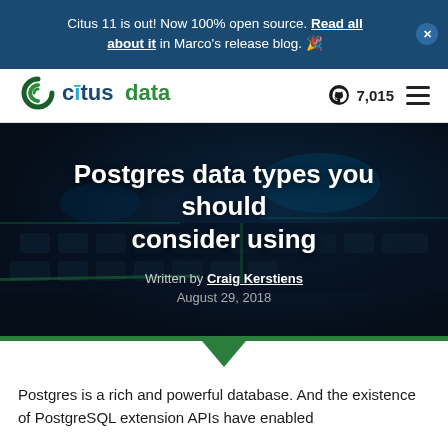Citus 11 is out! Now 100% open source. Read all about it in Marco's release blog. 🎉
[Figure (logo): Citus Data logo with swirl icon and text 'citusdata']
7,015
Postgres data types you should consider using
Written by Craig Kerstiens
August 29, 2018
Postgres is a rich and powerful database. And the existence of PostgreSQL extension APIs have enabled